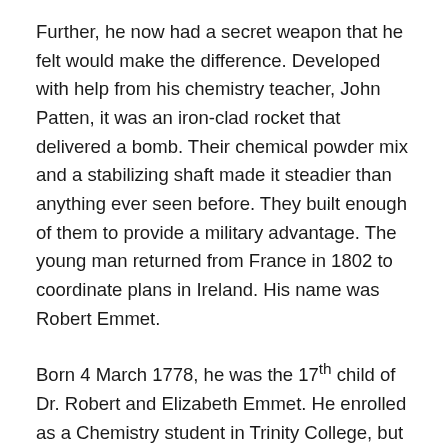Further, he now had a secret weapon that he felt would make the difference. Developed with help from his chemistry teacher, John Patten, it was an iron-clad rocket that delivered a bomb. Their chemical powder mix and a stabilizing shaft made it steadier than anything ever seen before. They built enough of them to provide a military advantage. The young man returned from France in 1802 to coordinate plans in Ireland. His name was Robert Emmet.
Born 4 March 1778, he was the 17th child of Dr. Robert and Elizabeth Emmet. He enrolled as a Chemistry student in Trinity College, but was expelled for refusing to take an oath of allegiance to King George III. His older brother, Thomas Addis Emmet, was one of the '98 leaders, jailed and exiled to America where he became New York State Attorney General and that's another story. As for young